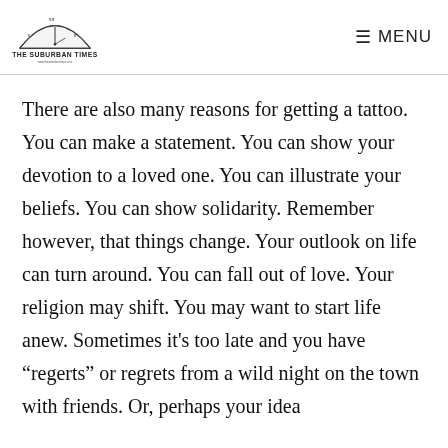THE SUBURBAN TIMES | MENU
There are also many reasons for getting a tattoo. You can make a statement. You can show your devotion to a loved one. You can illustrate your beliefs. You can show solidarity. Remember however, that things change. Your outlook on life can turn around. You can fall out of love. Your religion may shift. You may want to start life anew. Sometimes it's too late and you have “regerts” or regrets from a wild night on the town with friends. Or, perhaps your idea